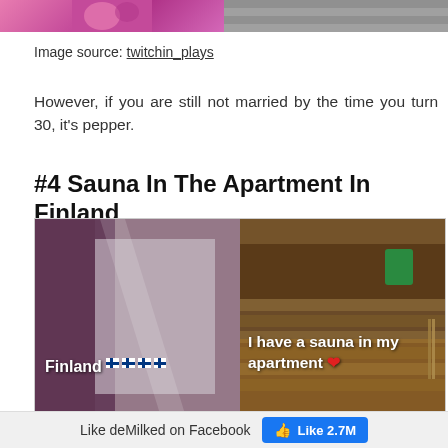[Figure (photo): Top strip showing two partial images — left has pink/purple tones, right has grey/stone texture]
Image source: twitchin_plays
However, if you are still not married by the time you turn 30, it's pepper.
#4 Sauna In The Apartment In Finland
[Figure (photo): Two-panel image: left panel shows blurry close-up with text 'Finland' and Finnish flag emojis in white bold font; right panel shows wooden sauna interior with a green container and text 'I have a sauna in my apartment' with red heart emoji]
Like deMilked on Facebook   Like 2.7M